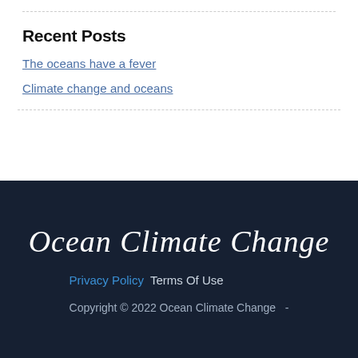Recent Posts
The oceans have a fever
Climate change and oceans
[Figure (logo): Ocean Climate Change website logo in italic script font on dark navy background]
Privacy Policy   Terms Of Use
Copyright © 2022 Ocean Climate Change  -